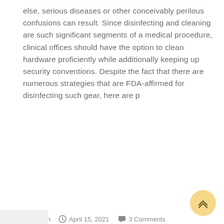else, serious diseases or other conceivably perilous confusions can result. Since disinfecting and cleaning are such significant segments of a medical procedure, clinical offices should have the option to clean hardware proficiently while additionally keeping up security conventions. Despite the fact that there are numerous strategies that are FDA-affirmed for disinfecting such gear, here are p
By  Admin   April 15, 2021   3 Comments